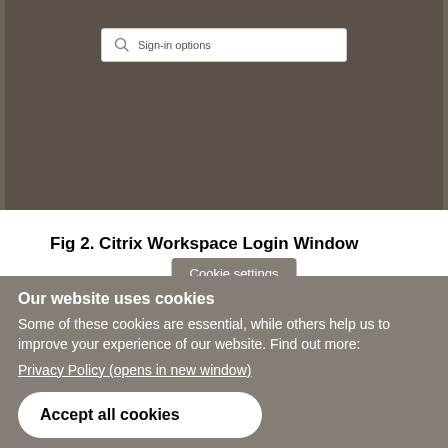[Figure (screenshot): Screenshot of Citrix Workspace login window showing a 'Sign-in options' search/input field on a dark brownish background with building columns visible]
Fig 2. Citrix Workspace Login Window
3. Some users may see a dialogue box asking you to choose Birkbeck or choose Store.
Cookie settings
Our website uses cookies
Some of these cookies are essential, while others help us to improve your experience of our website. Find out more:
Privacy Policy (opens in new window)
Accept all cookies
Manage cookies